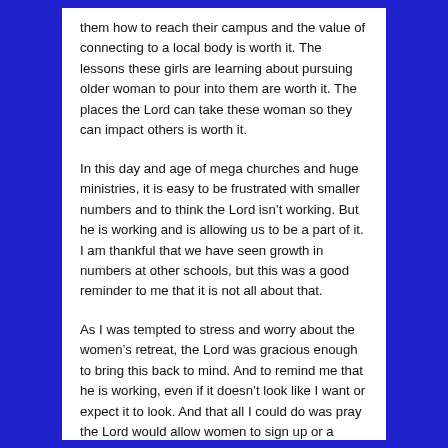them how to reach their campus and the value of connecting to a local body is worth it.  The lessons these girls are learning about pursuing older woman to pour into them are worth it.  The places the Lord can take these woman so they can impact others is worth it.
In this day and age of mega churches and huge ministries, it is easy to be frustrated with smaller numbers and to think the Lord isn't working.  But he is working and is allowing us to be a part of it.  I am thankful that we have seen growth in numbers at other schools, but this was a good reminder to me that it is not all about that.
As I was tempted to stress and worry about the women's retreat, the Lord was gracious enough to bring this back to mind.  And to remind me that he is working, even if it doesn't look like I want or expect it to look.  And that all I could do was pray the Lord would allow women to sign up or a miracle to happen, and trust him instead of controlling.